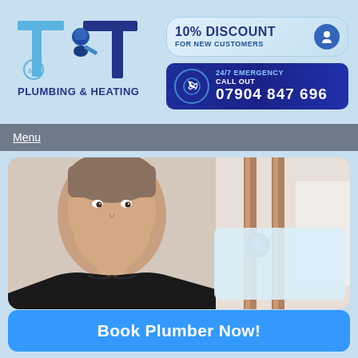[Figure (logo): T&T Plumbing & Heating logo with large T letters and plumber figure, 24/7 badge]
[Figure (infographic): 10% Discount for New Customers badge with person icon]
[Figure (infographic): 24/7 Emergency Call Out 07904 847 696 dark blue button with phone icon]
Menu
[Figure (photo): Smiling male plumber in front of copper pipes and boiler equipment]
Book Plumber Now!